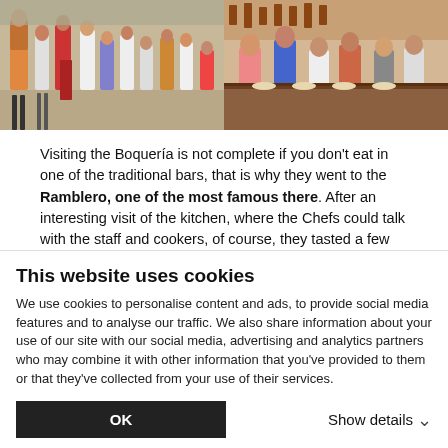[Figure (photo): Two side-by-side photos: left shows people walking in a market/street scene; right shows people seated at a market bar/restaurant.]
Visiting the Boquería is not complete if you don't eat in one of the traditional bars, that is why they went to the Ramblero, one of the most famous there. After an interesting visit of the kitchen, where the Chefs could talk with the staff and cookers, of course, they tasted a few plates... Chipirons, tortilla de patatas, montaditos... all that with a good cava... It's very difficult to choose between all the specialities so, let's see and choose by yourself...
Replete, having a walk was essential, that's why they went to the Barrio del Born to know a little bit more its story and to stroll in its
This website uses cookies
We use cookies to personalise content and ads, to provide social media features and to analyse our traffic. We also share information about your use of our site with our social media, advertising and analytics partners who may combine it with other information that you've provided to them or that they've collected from your use of their services.
OK
Show details